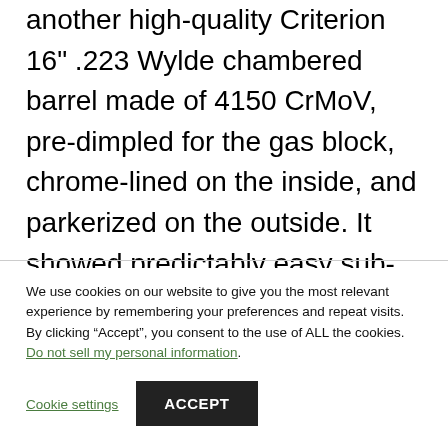another high-quality Criterion 16" .223 Wylde chambered barrel made of 4150 CrMoV, pre-dimpled for the gas block, chrome-lined on the inside, and parkerized on the outside. It showed predictably easy sub-MOA with a little to no effort, it deserves its place in our Barrels Hall of Fame.
We use cookies on our website to give you the most relevant experience by remembering your preferences and repeat visits. By clicking “Accept”, you consent to the use of ALL the cookies. Do not sell my personal information.